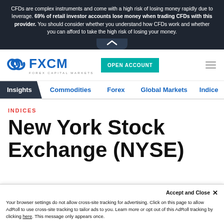CFDs are complex instruments and come with a high risk of losing money rapidly due to leverage. 69% of retail investor accounts lose money when trading CFDs with this provider. You should consider whether you understand how CFDs work and whether you can afford to take the high risk of losing your money.
[Figure (logo): FXCM Forex Capital Markets logo in blue]
OPEN ACCOUNT
Insights  Commodities  Forex  Global Markets  Indice
INDICES
New York Stock Exchange (NYSE)
Accept and Close ✕
Your browser settings do not allow cross-site tracking for advertising. Click on this page to allow AdRoll to use cross-site tracking to tailor ads to you. Learn more or opt out of this AdRoll tracking by clicking here. This message only appears once.